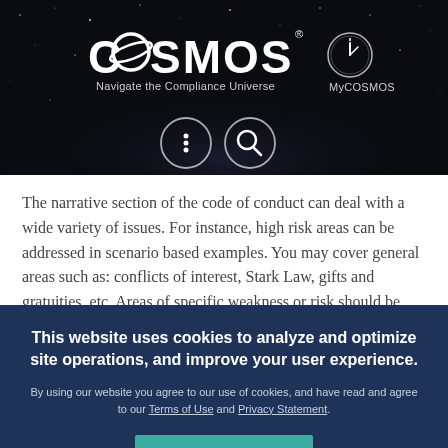[Figure (logo): COSMOS logo with tagline 'Navigate the Compliance Universe' and MyCOSMOS icon on dark starry background, with menu and search navigation circles]
The narrative section of the code of conduct can deal with a wide variety of issues. For instance, high risk areas can be addressed in scenario based examples. You may cover general areas such as: conflicts of interest, Stark Law, gifts and gratuities, etc. Areas of specific weakness or risk should be addressed in the code, depending on the organizational setting. Most importantly, the code must
This website uses cookies to analyze and optimize site operations, and improve your user experience.
By using our website you agree to our use of cookies, and have read and agree to our Terms of Use and Privacy Statement.
I AGREE